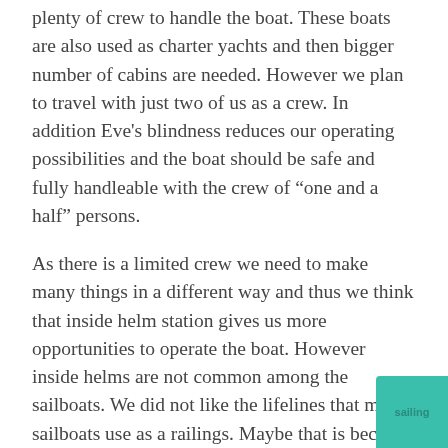plenty of crew to handle the boat. These boats are also used as charter yachts and then bigger number of cabins are needed. However we plan to travel with just two of us as a crew. In addition Eve's blindness reduces our operating possibilities and the boat should be safe and fully handleable with the crew of "one and a half" persons.
As there is a limited crew we need to make many things in a different way and thus we think that inside helm station gives us more opportunities to operate the boat. However inside helms are not common among the sailboats. We did not like the lifelines that most sailboats use as a railings. Maybe that is because our current Suwena has really good and strong stainless steel tube railings that also gives additional safety element to Eve.
On the boat shows we were visiting in several sailboats which had squeaks and groans in their hulls when children run on a deck. Even if these boats are designed for blue water sailing we are not willing to take our souls in this kind of a boat into